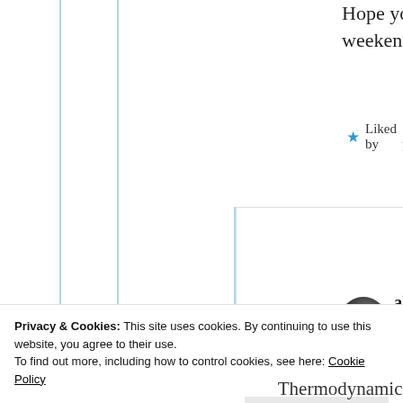Hope you have a happy weekend 😇
★ Liked by 1 person
alec.martin.fraher
4th Sep 2021 at 11:16 am
Privacy & Cookies: This site uses cookies. By continuing to use this website, you agree to their use.
To find out more, including how to control cookies, see here: Cookie Policy
Close and accept
Thermodynamics and